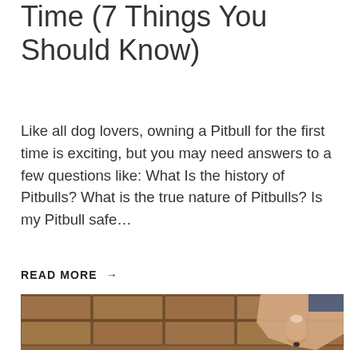Time (7 Things You Should Know)
Like all dog lovers, owning a Pitbull for the first time is exciting, but you may need answers to a few questions like: What Is the history of Pitbulls? What is the true nature of Pitbulls? Is my Pitbull safe…
READ MORE →
[Figure (photo): A hand/finger pointing at a tiled floor surface. The floor has brown ceramic tiles with visible grout lines arranged in a grid pattern.]